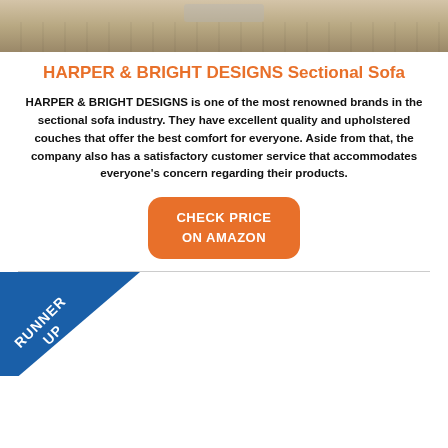[Figure (photo): Product image showing a sectional sofa on a wood grain floor, cropped at top]
HARPER & BRIGHT DESIGNS Sectional Sofa
HARPER & BRIGHT DESIGNS is one of the most renowned brands in the sectional sofa industry. They have excellent quality and upholstered couches that offer the best comfort for everyone. Aside from that, the company also has a satisfactory customer service that accommodates everyone's concern regarding their products.
[Figure (other): Orange rounded rectangle button with text CHECK PRICE ON AMAZON]
[Figure (other): Blue diagonal ribbon badge in bottom-left corner with text RUNNER UP]